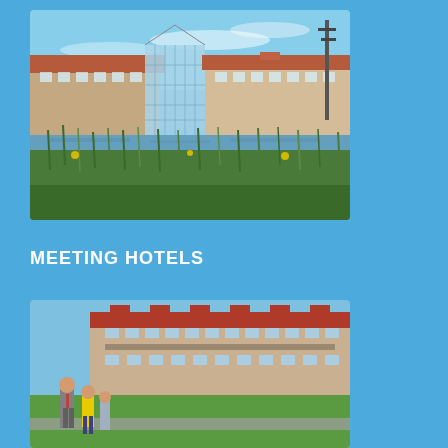[Figure (photo): Exterior photo of a hotel building with a glass atrium structure, red-tiled roof wings, and a pond or water feature in the foreground with green reeds and vegetation. Blue sky with light clouds in the background.]
MEETING HOTELS
[Figure (photo): Photo of a modern hotel building with red roof and multiple balconies, set near a waterway. In the foreground, three people stand outdoors — a man in a grey suit, a person in a yellow shirt, and another individual — on a sunny day with green grass lawn visible.]